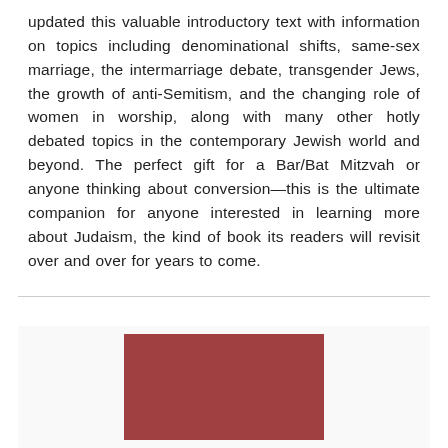updated this valuable introductory text with information on topics including denominational shifts, same-sex marriage, the intermarriage debate, transgender Jews, the growth of anti-Semitism, and the changing role of women in worship, along with many other hotly debated topics in the contemporary Jewish world and beyond. The perfect gift for a Bar/Bat Mitzvah or anyone thinking about conversion—this is the ultimate companion for anyone interested in learning more about Judaism, the kind of book its readers will revisit over and over for years to come.
[Figure (photo): Partial view of a book cover with a dark reddish-brown color visible at the bottom of the page]